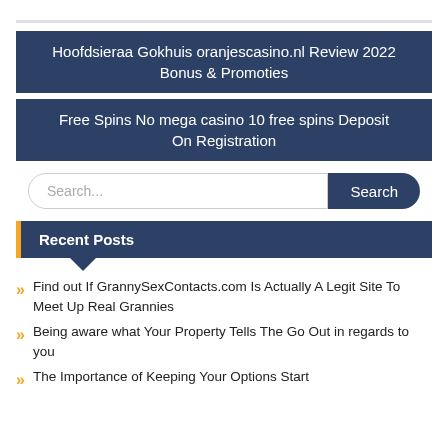Hoofdsieraa Gokhuis oranjescasino.nl Review 2022 Bonus & Promoties
Free Spins No mega casino 10 free spins Deposit On Registration
Recent Posts
Find out If GrannySexContacts.com Is Actually A Legit Site To Meet Up Real Grannies
Being aware what Your Property Tells The Go Out in regards to you
The Importance of Keeping Your Options Start